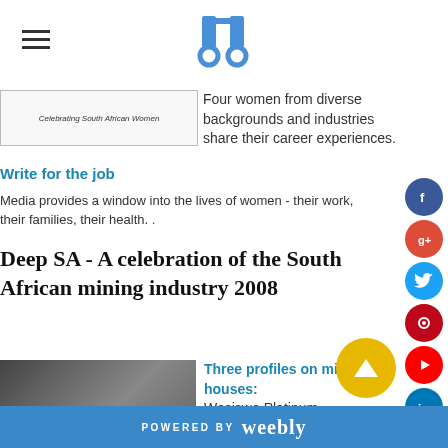[Figure (logo): Blue stylized logo resembling letters at top center of page]
Celebrating South African Women
Four women from diverse backgrounds and industries share their career experiences.
Write for the job
Media provides a window into the lives of women - their work, their families, their health. .
Deep SA - A celebration of the South African mining industry 2008
[Figure (photo): Dark photo of a person, used as article thumbnail]
Three profiles on mining houses: Wesiswe Platinum
POWERED BY weebly